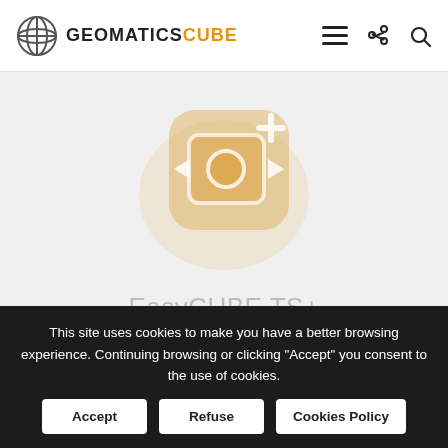GEOMATICS CUBE
[Figure (logo): GeomaticsCube product logo — rounded square icon with camera/recorder symbol in amber/gold color with play arrows and a plus sign, faded/transparent appearance]
EasyCUBE TS+
Stand-alone software to create digital terrain models (DTM/DiTM) starting from raw data, point clouds or meshes (even with texture).
This site uses cookies to make you have a better browsing experience. Continuing browsing or clicking "Accept" you consent to the use of cookies.